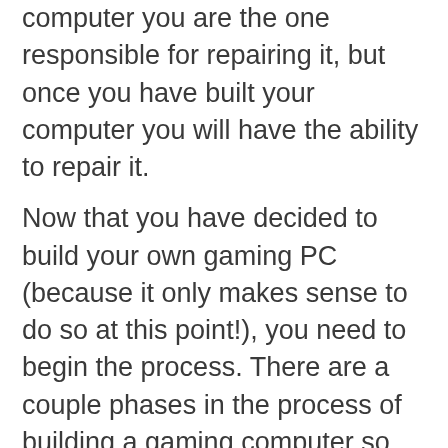something goes wrong with your computer you are the one responsible for repairing it, but once you have built your computer you will have the ability to repair it.
Now that you have decided to build your own gaming PC (because it only makes sense to do so at this point!), you need to begin the process. There are a couple phases in the process of building a gaming computer so let's get started below…
[Figure (photo): Close-up photo of a motherboard I/O panel showing various ports including USB, HDMI, DVI, VGA, Ethernet, and audio jacks with blue and red colored ports visible.]
PHASE 1
Determine your budget. The objective